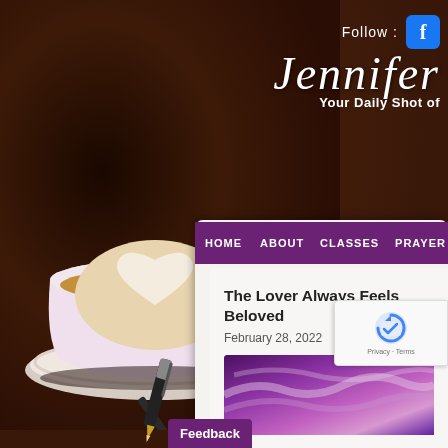[Figure (screenshot): Website screenshot of a blog called Jennifer - Your Daily Shot of [something], showing a coffee cup with heart latte art on dark background, navigation menu with HOME, ABOUT, CLASSES, PRAYER, BL..., a blog post titled 'The Lover Always Feels Beloved' dated February 28, 2022, a purple sky image, a reCAPTCHA badge, and a Feedback button. Follow: Facebook icon in top right.]
Follow : Jennifer Your Daily Shot of
HOME   ABOUT   CLASSES   PRAYER   BL
The Lover Always Feels Beloved
February 28, 2022
Feedback